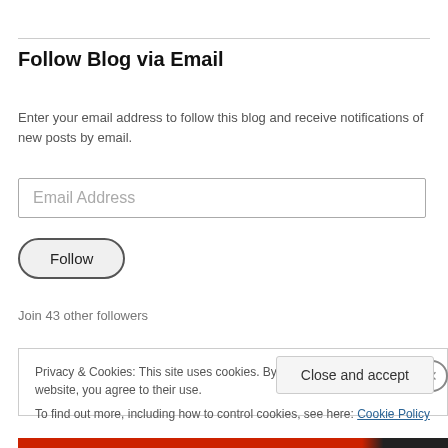Follow Blog via Email
Enter your email address to follow this blog and receive notifications of new posts by email.
Email Address
Follow
Join 43 other followers
Privacy & Cookies: This site uses cookies. By continuing to use this website, you agree to their use.
To find out more, including how to control cookies, see here: Cookie Policy
Close and accept